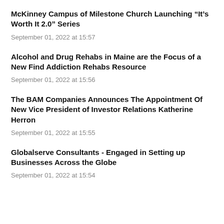McKinney Campus of Milestone Church Launching “It’s Worth It 2.0” Series
September 01, 2022 at 15:57
Alcohol and Drug Rehabs in Maine are the Focus of a New Find Addiction Rehabs Resource
September 01, 2022 at 15:56
The BAM Companies Announces The Appointment Of New Vice President of Investor Relations Katherine Herron
September 01, 2022 at 15:55
Globalserve Consultants - Engaged in Setting up Businesses Across the Globe
September 01, 2022 at 15:54